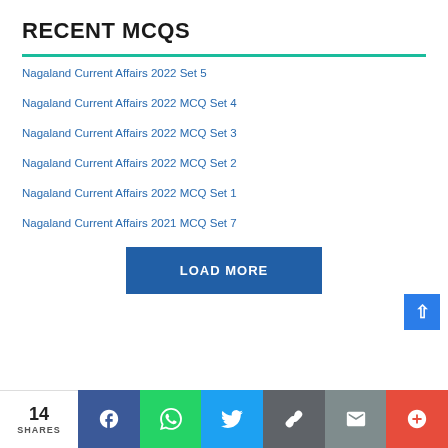RECENT MCQS
Nagaland Current Affairs 2022 Set 5
Nagaland Current Affairs 2022 MCQ Set 4
Nagaland Current Affairs 2022 MCQ Set 3
Nagaland Current Affairs 2022 MCQ Set 2
Nagaland Current Affairs 2022 MCQ Set 1
Nagaland Current Affairs 2021 MCQ Set 7
LOAD MORE
14 SHARES